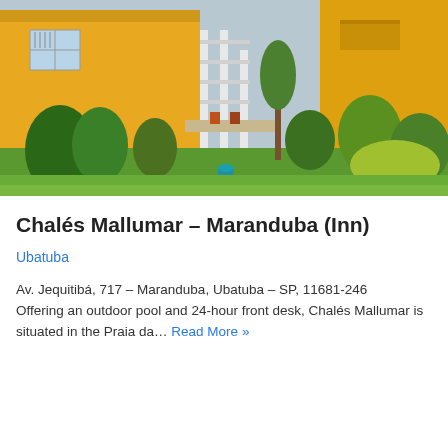[Figure (photo): Exterior photo of Chalés Mallumar showing a yellow building with white-railed staircase, lush green garden with trees and shrubs, and grass lawn in the foreground]
Chalés Mallumar – Maranduba (Inn)
Ubatuba
Av. Jequitibá, 717 – Maranduba, Ubatuba – SP, 11681-246
Offering an outdoor pool and 24-hour front desk, Chalés Mallumar is situated in the Praia da… Read More »